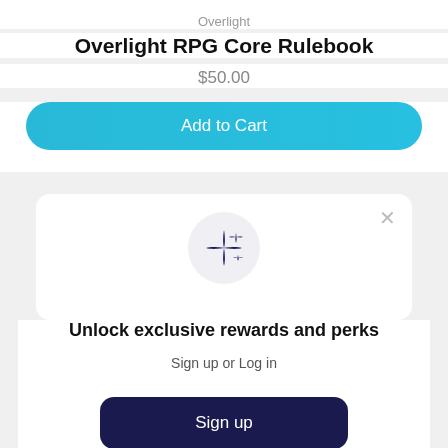Overlight
Overlight RPG Core Rulebook
$50.00
Add to Cart
[Figure (other): Sparkles/stars icon inside a light grey circle]
Unlock exclusive rewards and perks
Sign up or Log in
Sign up
Already have an account? Sign in
[Figure (photo): Colorful book covers image strip at the bottom]